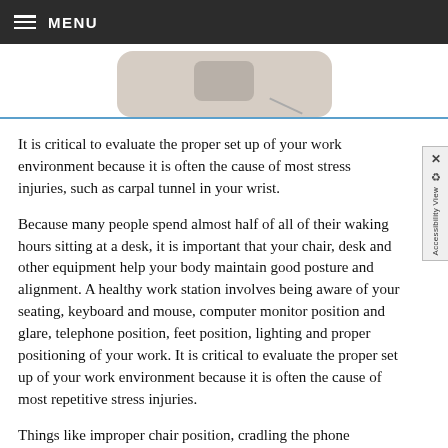MENU
[Figure (photo): Partial image of a computer mouse on a light background, shown cropped at the top of the content area.]
It is critical to evaluate the proper set up of your work environment because it is often the cause of most stress injuries, such as carpal tunnel in your wrist.
Because many people spend almost half of all of their waking hours sitting at a desk, it is important that your chair, desk and other equipment help your body maintain good posture and alignment. A healthy work station involves being aware of your seating, keyboard and mouse, computer monitor position and glare, telephone position, feet position, lighting and proper positioning of your work. It is critical to evaluate the proper set up of your work environment because it is often the cause of most repetitive stress injuries.
Things like improper chair position, cradling the phone between your ear and shoulder, or straining your neck to look at your computer monitor is not a big deal every once in a while, but when you do the same repetitive motions for several hours a